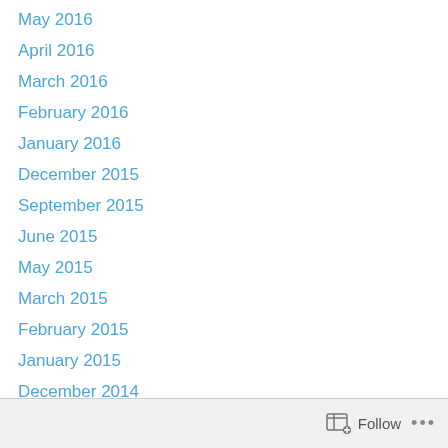May 2016
April 2016
March 2016
February 2016
January 2016
December 2015
September 2015
June 2015
May 2015
March 2015
February 2015
January 2015
December 2014
November 2014
October 2014
September 2014
August 2014
July 2014
Follow ...